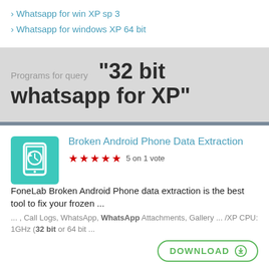› Whatsapp for win XP sp 3
› Whatsapp for windows XP 64 bit
Programs for query "32 bit whatsapp for XP"
[Figure (logo): Teal/green app icon for Broken Android Phone Data Extraction showing a phone with a clock/recovery symbol]
Broken Android Phone Data Extraction
5 on 1 vote
FoneLab Broken Android Phone data extraction is the best tool to fix your frozen ...
... , Call Logs, WhatsApp, WhatsApp Attachments, Gallery ... /XP CPU: 1GHz (32 bit or 64 bit ...
DOWNLOAD